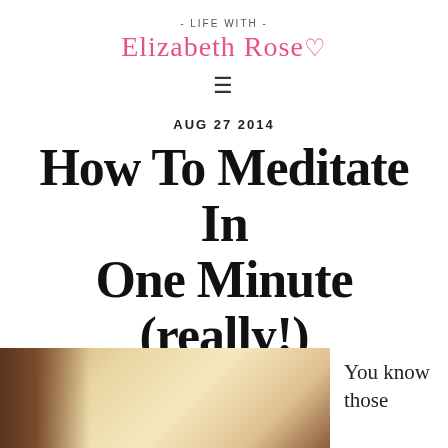- LIFE WITH -
Elizabeth Rose ♡
≡
AUG 27 2014
How To Meditate In One Minute (really!)
[Figure (photo): Partial photo of a person, warm tones with brown and golden hues, cropped at bottom of page]
You know those